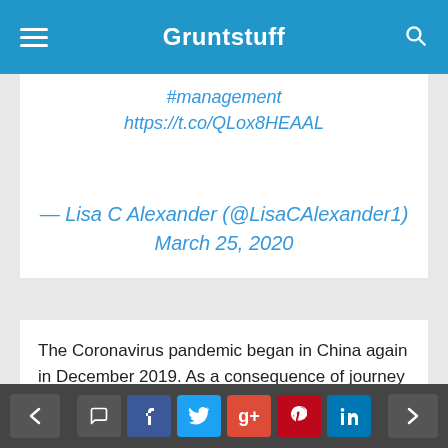Gruntstuff
#management https://t.co/QLox8HEAAL
— Lisa C Alexander (@LisaCAlexander1) March 25, 2020
The Coronavirus pandemic began in China again in December 2019. As a consequence of journey and tourism, it unfold from China all over the world and has presently impacted 172 nations. The demise